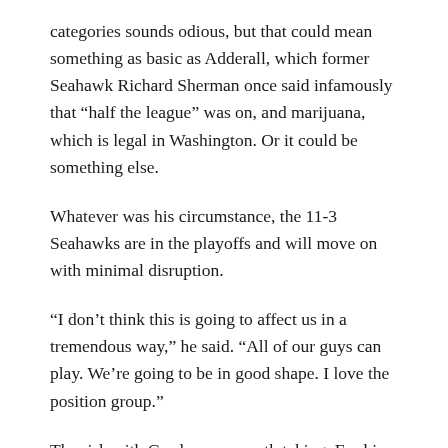categories sounds odious, but that could mean something as basic as Adderall, which former Seahawk Richard Sherman once said infamously that “half the league” was on, and marijuana, which is legal in Washington. Or it could be something else.
Whatever was his circumstance, the 11-3 Seahawks are in the playoffs and will move on with minimal disruption.
“I don’t think this is going to affect us in a tremendous way,” he said. “All of our guys can play. We’re going to be in good shape. I love the position group.”
The risk with Gordon was worth taking. For him as well as the Seahawks, it’s a shame addiction’s grip is so insidious and potent.